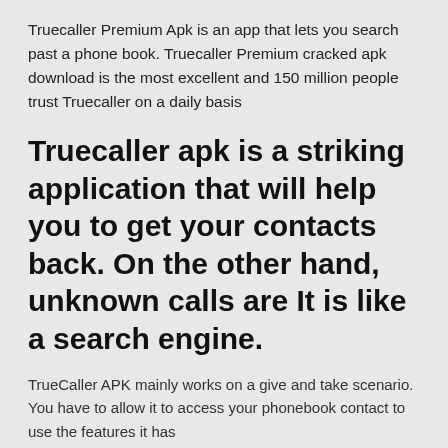Truecaller Premium Apk is an app that lets you search past a phone book. Truecaller Premium cracked apk download is the most excellent and 150 million people trust Truecaller on a daily basis
Truecaller apk is a striking application that will help you to get your contacts back. On the other hand, unknown calls are It is like a search engine.
TrueCaller APK mainly works on a give and take scenario. You have to allow it to access your phonebook contact to use the features it has
Truecaller APK is a virtual catalog that contains contacts from various individuals around the globe. Its natural and organic